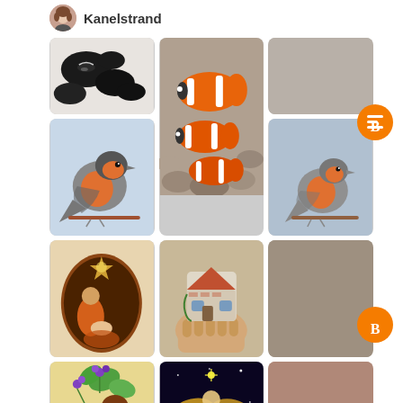[Figure (photo): Profile avatar of a woman with brown hair]
Kanelstrand
[Figure (photo): Painted black rocks on white background]
[Figure (photo): Painted rocks as clownfish on real pebbles]
[Figure (photo): Gray/taupe plain rounded rectangle placeholder]
[Figure (illustration): Illustration of a robin bird on light blue background]
[Figure (photo): Painted rock as a robin bird on light blue-gray background]
[Figure (photo): Painted rock with nativity scene in brown and orange]
[Figure (photo): Hand holding a painted rock shaped like a house]
[Figure (photo): Taupe/gray plain rounded rectangle placeholder]
[Figure (illustration): Illustration of a bird with green leaves and purple flowers]
[Figure (photo): Painted rock as a golden glittery angel]
[Figure (photo): Pinkish-brown plain rounded rectangle placeholder]
[Figure (logo): Blogger orange B logo icon (top right)]
[Figure (logo): Blogger orange B logo icon (bottom right)]